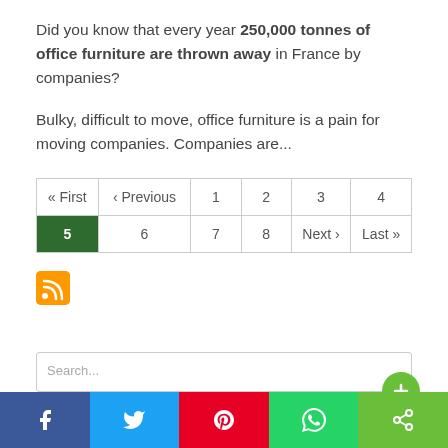Did you know that every year 250,000 tonnes of office furniture are thrown away in France by companies?
Bulky, difficult to move, office furniture is a pain for moving companies. Companies are...
| « First | ‹ Previous | 1 | 2 | 3 | 4 |
| 5 | 6 | 7 | 8 | Next › | Last » |
[Figure (other): RSS feed icon - orange square with white RSS symbol]
[Figure (other): Social share bar with Facebook, Twitter, Pinterest, WhatsApp, and Share buttons]